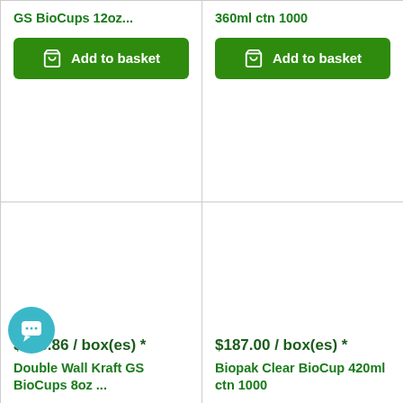GS BioCups 12oz...
Add to basket
360ml ctn 1000
Add to basket
$156.86 / box(es) *
Double Wall Kraft GS BioCups 8oz ...
$187.00 / box(es) *
Biopak Clear BioCup 420ml ctn 1000